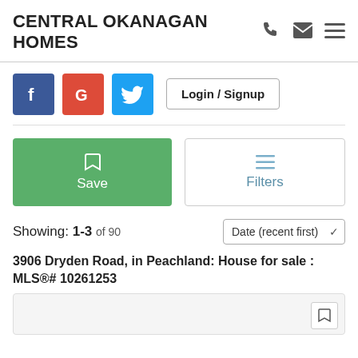CENTRAL OKANAGAN HOMES
[Figure (screenshot): Navigation icons: phone, email, hamburger menu]
[Figure (infographic): Social login buttons: Facebook (f), Google (G), Twitter bird icon, and Login / Signup button]
[Figure (infographic): Save button (green with bookmark icon) and Filters button (with lines icon)]
Showing: 1-3 of 90
Date (recent first)
3906 Dryden Road, in Peachland: House for sale : MLS®# 10261253
[Figure (photo): Property listing card with bookmark icon in bottom-right corner]